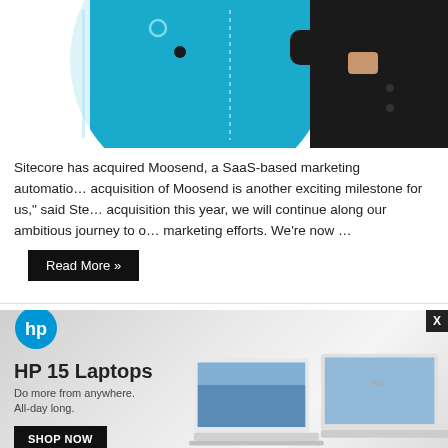[Figure (illustration): Illustration of a business person in a suit with teal/cyan background and decorative elements]
Sitecore has acquired Moosend, a SaaS-based marketing automatio… acquisition of Moosend is another exciting milestone for us," said Ste… acquisition this year, we will continue along our ambitious journey to o… marketing efforts. We're now …
Read More »
Lenovo unveils enhanced SaaS tool for
[Figure (advertisement): HP 15 Laptops advertisement banner. HP logo, text 'HP 15 Laptops', tagline 'Do more from anywhere. All-day long.', Shop Now button, and images of silver laptops.]